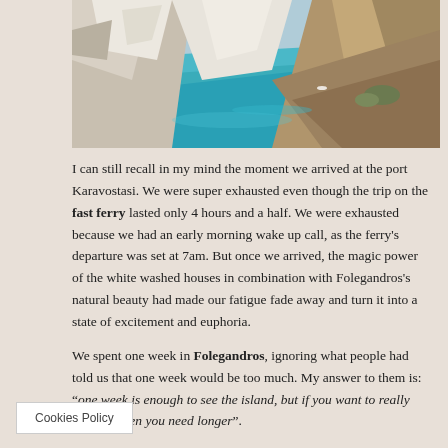[Figure (photo): Coastal landscape with turquoise blue sea and rocky white and brown cliffs. The photograph shows a scenic bay in Greece (Folegandros), viewed from a clifftop angle.]
I can still recall in my mind the moment we arrived at the port Karavostasi. We were super exhausted even though the trip on the fast ferry lasted only 4 hours and a half. We were exhausted because we had an early morning wake up call, as the ferry's departure was set at 7am. But once we arrived, the magic power of the white washed houses in combination with Folegandros's natural beauty had made our fatigue fade away and turn it into a state of excitement and euphoria.
We spent one week in Folegandros, ignoring what people had told us that one week would be too much. My answer to them is: "one week is enough to see the island, but if you want to really enjoy it, then you need longer".